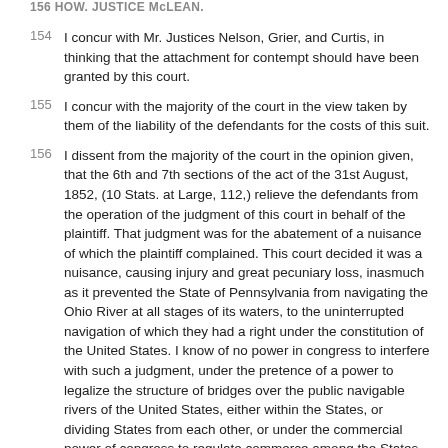156 HOW. JUSTICE MCLEAN.
154 I concur with Mr. Justices Nelson, Grier, and Curtis, in thinking that the attachment for contempt should have been granted by this court.
155 I concur with the majority of the court in the view taken by them of the liability of the defendants for the costs of this suit.
156 I dissent from the majority of the court in the opinion given, that the 6th and 7th sections of the act of the 31st August, 1852, (10 Stats. at Large, 112,) relieve the defendants from the operation of the judgment of this court in behalf of the plaintiff. That judgment was for the abatement of a nuisance of which the plaintiff complained. This court decided it was a nuisance, causing injury and great pecuniary loss, inasmuch as it prevented the State of Pennsylvania from navigating the Ohio River at all stages of its waters, to the uninterrupted navigation of which they had a right under the constitution of the United States. I know of no power in congress to interfere with such a judgment, under the pretence of a power to legalize the structure of bridges over the public navigable rivers of the United States, either within the States, or dividing States from each other, or under the commercial power of congress to regulate commerce among the States. Nor does the power of congress to